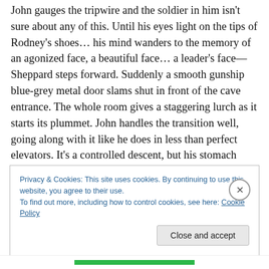John gauges the tripwire and the soldier in him isn't sure about any of this. Until his eyes light on the tips of Rodney's shoes… his mind wanders to the memory of an agonized face, a beautiful face… a leader's face—Sheppard steps forward. Suddenly a smooth gunship blue-grey metal door slams shut in front of the cave entrance. The whole room gives a staggering lurch as it starts its plummet. John handles the transition well, going along with it like he does in less than perfect elevators. It's a controlled descent, but his stomach shifts a tad with it anyways. This thing could use a little bit more
Privacy & Cookies: This site uses cookies. By continuing to use this website, you agree to their use.
To find out more, including how to control cookies, see here: Cookie Policy
Close and accept